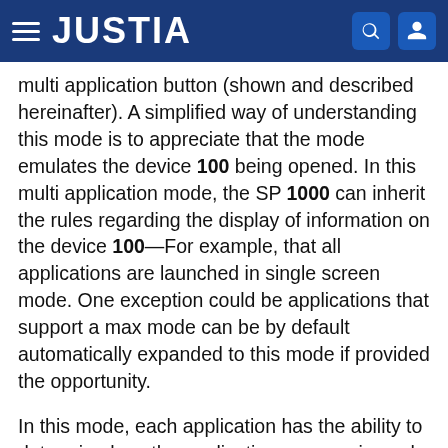JUSTIA
multi application button (shown and described hereinafter). A simplified way of understanding this mode is to appreciate that the mode emulates the device 100 being opened. In this multi application mode, the SP 1000 can inherit the rules regarding the display of information on the device 100—For example, that all applications are launched in single screen mode. One exception could be applications that support a max mode can be by default automatically expanded to this mode if provided the opportunity.
In this mode, each application has the ability to determine how the application appears in each orientation (e.g., portrait and landscape).
FIG. 26 illustrates an exemplary method of managing the multiple application mode of the SP 1000. In the multiple